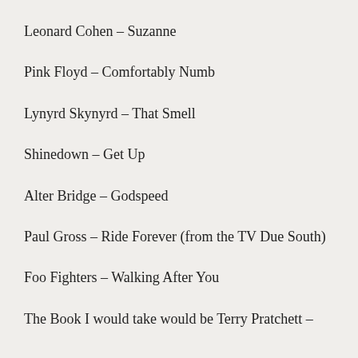Leonard Cohen – Suzanne
Pink Floyd – Comfortably Numb
Lynyrd Skynyrd – That Smell
Shinedown – Get Up
Alter Bridge – Godspeed
Paul Gross – Ride Forever (from the TV Due South)
Foo Fighters – Walking After You
The Book I would take would be Terry Pratchett –